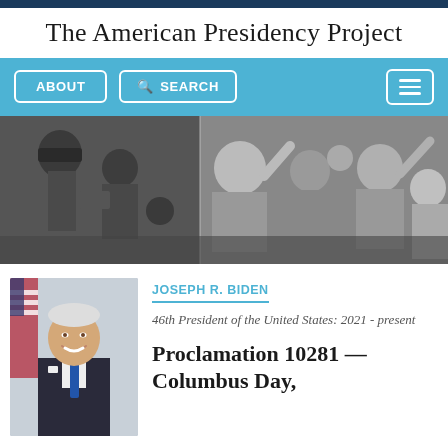The American Presidency Project
[Figure (screenshot): Navigation bar with ABOUT and SEARCH buttons and hamburger menu on blue background]
[Figure (photo): Black and white historical photograph of men waving to a crowd, including figures wearing suits and hats]
[Figure (photo): Color photograph of Joseph R. Biden smiling in a suit with a blue tie and American flag in background]
JOSEPH R. BIDEN
46th President of the United States: 2021 - present
Proclamation 10281 —Columbus Day,